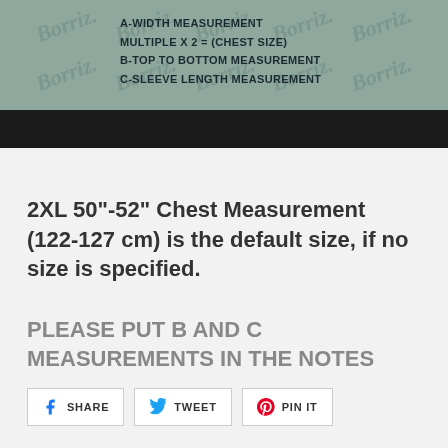[Figure (illustration): Product measurement guide image showing a garment with measurement labels A, B, C on a teal/sage green background with 'Borriz' watermark text repeating diagonally. Text overlay lists: A-WIDTH MEASUREMENT MULTIPLE X 2 = (CHEST SIZE), B-TOP TO BOTTOM MEASUREMENT, C-SLEEVE LENGTH MEASUREMENT. Bottom section has a black bar.]
2XL 50"-52" Chest Measurement (122-127 cm) is the default size, if no size is specified.
PLEASE PUT B AND C MEASUREMENTS IN THE NOTES